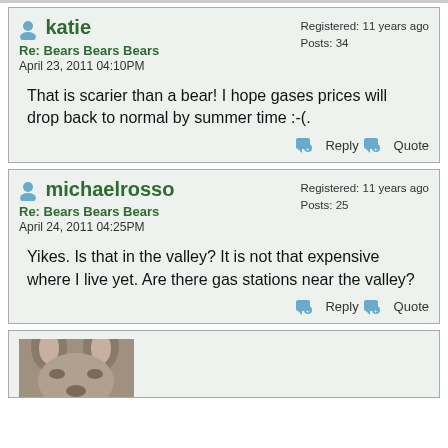katie — Re: Bears Bears Bears — April 23, 2011 04:10PM — Registered: 11 years ago — Posts: 34
That is scarier than a bear! I hope gases prices will drop back to normal by summer time :-(.
michaelrosso — Re: Bears Bears Bears — April 24, 2011 04:25PM — Registered: 11 years ago — Posts: 25
Yikes. Is that in the valley? It is not that expensive where I live yet. Are there gas stations near the valley?
[Figure (photo): Partial view of an animal face (appears to be a deer or similar animal) at the bottom of the page]